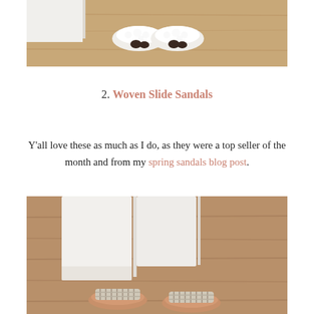[Figure (photo): Top-down view of white fluffy slide slippers on a wood floor]
2. Woven Slide Sandals
Y'all love these as much as I do, as they were a top seller of the month and from my spring sandals blog post.
[Figure (photo): Top-down view of woven slide sandals in tan/silver on a wood floor next to white furniture]